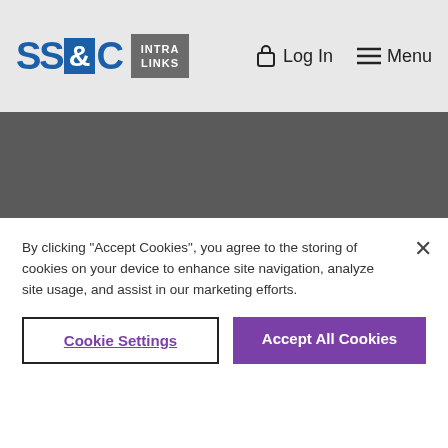[Figure (logo): SS&C Intralinks logo with navigation bar showing Log In and Menu options]
You're in good company.
[Figure (logo): Goldman (partial logo visible, purple background)]
By clicking "Accept Cookies", you agree to the storing of cookies on your device to enhance site navigation, analyze site usage, and assist in our marketing efforts.
Cookie Settings
Accept All Cookies